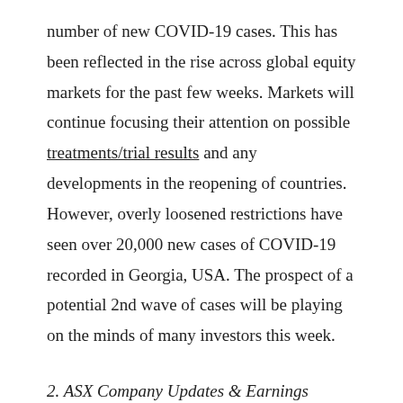number of new COVID-19 cases. This has been reflected in the rise across global equity markets for the past few weeks. Markets will continue focusing their attention on possible treatments/trial results and any developments in the reopening of countries. However, overly loosened restrictions have seen over 20,000 new cases of COVID-19 recorded in Georgia, USA. The prospect of a potential 2nd wave of cases will be playing on the minds of many investors this week.
2. ASX Company Updates & Earnings
The likes of companies such as Xero, CSR, Graincorp